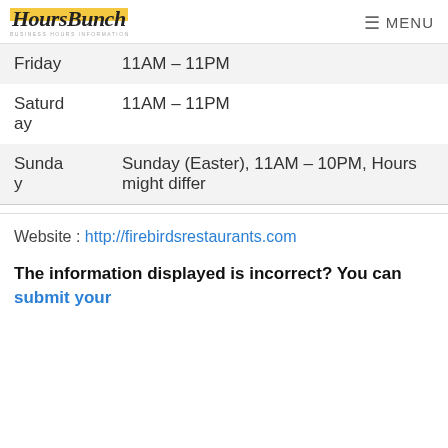HoursBunch — MENU
| Day | Hours |
| --- | --- |
| Friday | 11AM – 11PM |
| Saturday | 11AM – 11PM |
| Sunday | Sunday (Easter), 11AM – 10PM, Hours might differ |
Website : http://firebirdsrestaurants.com
The information displayed is incorrect? You can submit your